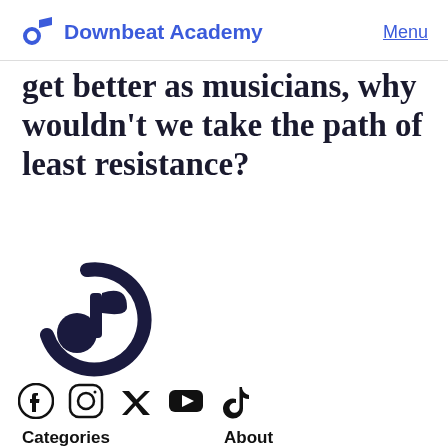Downbeat Academy | Menu
get better as musicians, why wouldn't we take the path of least resistance?
[Figure (logo): Downbeat Academy logo — large dark navy circular musical note icon]
[Figure (infographic): Social media icons row: Facebook, Instagram, Twitter, YouTube, TikTok]
Categories
About
Blog
Mission